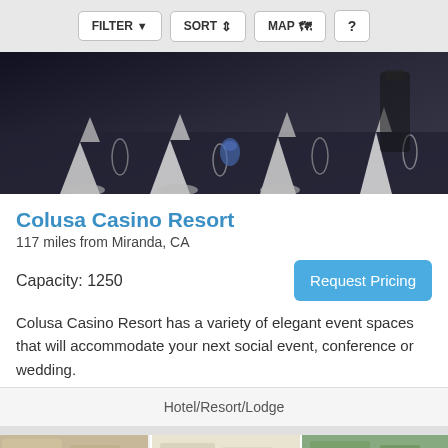FILTER  SORT  MAP  ?
[Figure (photo): Banquet table setting with white napkins, glassware, and dark tablecloths at a casino resort event space]
Colusa Casino Resort
117 miles from Miranda, CA
Capacity: 1250
Request Pricing
Colusa Casino Resort has a variety of elegant event spaces that will accommodate your next social event, conference or wedding.
Hotel/Resort/Lodge
[Figure (photo): Partial view of another venue listing showing event space photos]